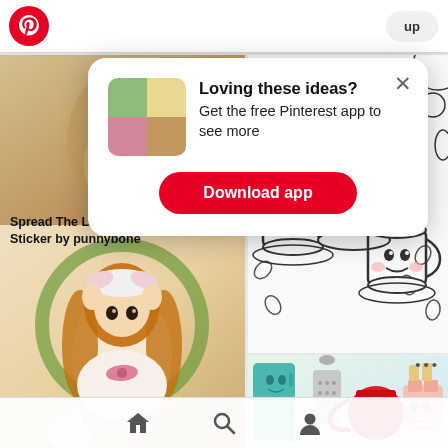[Figure (screenshot): Pinterest app screenshot showing a popup modal overlay on a Pinterest feed with kawaii/anime art pins. Modal says 'Loving these ideas? Get the free Pinterest app to see more' with a Download app button. Below are pin cards including 'Spread The Love Food Pun Sticker by punnybone', an anime girl illustration, kawaii coffee cup line art, and kawaii kitchen items. Bottom navigation bar with home, search, and profile icons.]
Loving these ideas?
Get the free Pinterest app to see more
Download app
Spread The Love Food Pun Sticker by punnybone